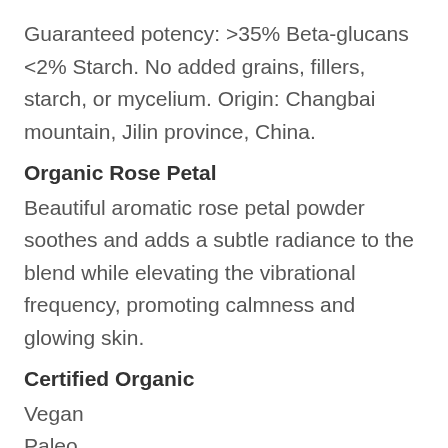Guaranteed potency: >35% Beta-glucans <2% Starch. No added grains, fillers, starch, or mycelium. Origin: Changbai mountain, Jilin province, China.
Organic Rose Petal
Beautiful aromatic rose petal powder soothes and adds a subtle radiance to the blend while elevating the vibrational frequency, promoting calmness and glowing skin.
Certified Organic
Vegan
Paleo
Gluten-Free